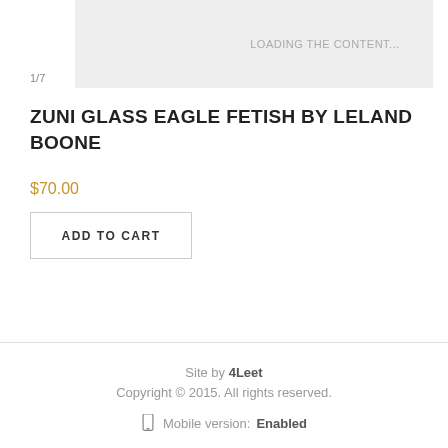[Figure (photo): Product image area showing a light gray background, partially visible at top of page, with image counter 1/7 and a loading overlay text]
1/7
LOADING THE CONTENT...
ZUNI GLASS EAGLE FETISH BY LELAND BOONE
$70.00
ADD TO CART
Site by 4Leet
Copyright © 2015. All rights reserved.
📱 Mobile version: Enabled